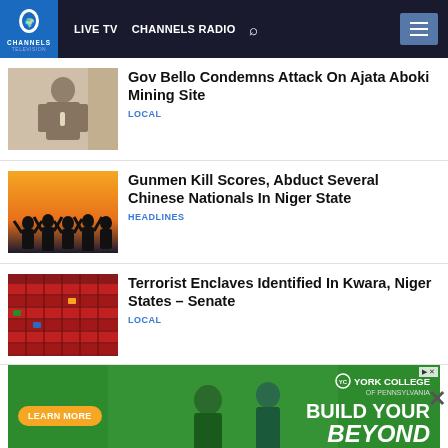LIVE TV  CHANNELS RADIO
Gov Bello Condemns Attack On Ajata Aboki Mining Site
LOCAL
Gunmen Kill Scores, Abduct Several Chinese Nationals In Niger State
HEADLINES
Terrorist Enclaves Identified In Kwara, Niger States – Senate
LOCAL
[Figure (screenshot): York College of Pennsylvania advertisement: BUILD YOUR BEYOND with LEARN MORE button]